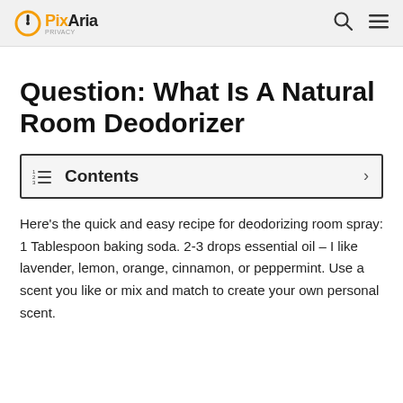PixAria
Question: What Is A Natural Room Deodorizer
Contents
Here's the quick and easy recipe for deodorizing room spray: 1 Tablespoon baking soda. 2-3 drops essential oil – I like lavender, lemon, orange, cinnamon, or peppermint. Use a scent you like or mix and match to create your own personal scent.